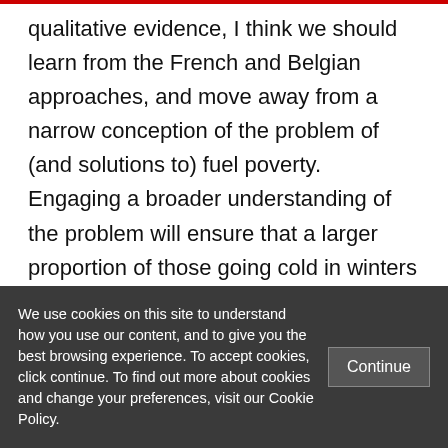qualitative evidence, I think we should learn from the French and Belgian approaches, and move away from a narrow conception of the problem of (and solutions to) fuel poverty. Engaging a broader understanding of the problem will ensure that a larger proportion of those going cold in winters to come are recognised as legitimately fuel poor, and allow them access to vital support.
We use cookies on this site to understand how you use our content, and to give you the best browsing experience. To accept cookies, click continue. To find out more about cookies and change your preferences, visit our Cookie Policy.